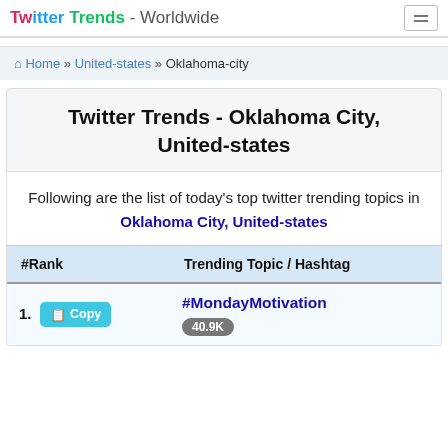Twitter Trends - Worldwide
Home » United-states » Oklahoma-city
Twitter Trends - Oklahoma City, United-states
Following are the list of today's top twitter trending topics in Oklahoma City, United-states
| #Rank | Trending Topic / Hashtag |
| --- | --- |
| 1. Copy | #MondayMotivation
40.9K |